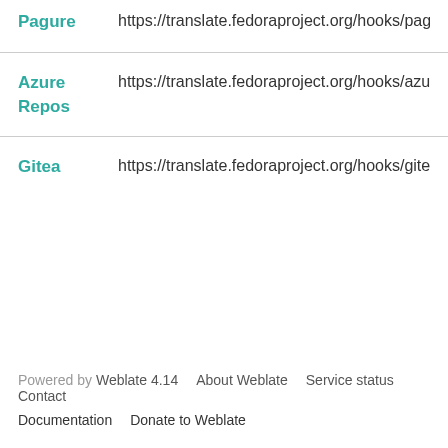|  |  |
| --- | --- |
| Pagure | https://translate.fedoraproject.org/hooks/pagur |
| Azure Repos | https://translate.fedoraproject.org/hooks/azure |
| Gitea | https://translate.fedoraproject.org/hooks/gitea/ |
Powered by Weblate 4.14  About Weblate  Service status  Contact  Documentation  Donate to Weblate